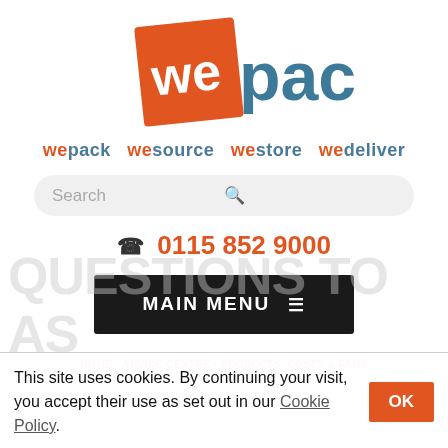[Figure (logo): WePack logo: orange square with white 'we' text, next to dark teal 'pack' text]
wepack wesource westore wedeliver
Search
0115 852 9000
MAIN MENU
HOME > ADVICE CENTRE > PRODUCTS, COSTS & FAQS > QUESTIONS TO ASK A CO-PACKER
QUESTIONS TO ASK A CO-PACKER
This site uses cookies. By continuing your visit, you accept their use as set out in our Cookie Policy.
OK